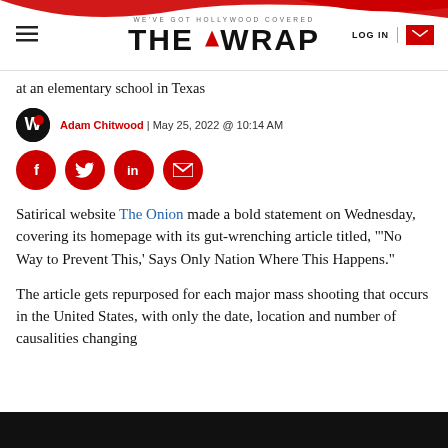WE'VE GOT HOLLYWOOD COVERED | THE WRAP | LOG IN
at an elementary school in Texas
Adam Chitwood | May 25, 2022 @ 10:14 AM
[Figure (infographic): Social sharing icons: Facebook, Twitter, LinkedIn, Email — red circles]
Satirical website The Onion made a bold statement on Wednesday, covering its homepage with its gut-wrenching article titled, "'No Way to Prevent This,' Says Only Nation Where This Happens."
The article gets repurposed for each major mass shooting that occurs in the United States, with only the date, location and number of causalities changing